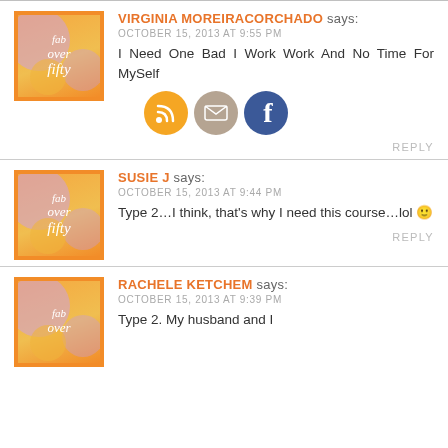VIRGINIA MOREIRACORCHADO says: OCTOBER 15, 2013 AT 9:55 PM — I Need One Bad I Work Work And No Time For MySelf
[Figure (logo): Fab Over Fifty logo avatar - orange bordered square with text fab over fifty in italic white script on orange/yellow gradient background with lavender blobs]
SUSIE J says: OCTOBER 15, 2013 AT 9:44 PM — Type 2...I think, that's why I need this course...lol
[Figure (logo): Fab Over Fifty logo avatar]
RACHELE KETCHEM says: OCTOBER 15, 2013 AT 9:39 PM — Type 2. My husband and I
[Figure (logo): Fab Over Fifty logo avatar]